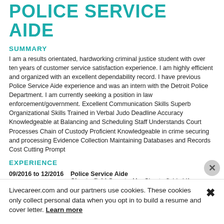POLICE SERVICE AIDE
SUMMARY
I am a results orientated, hardworking criminal justice student with over ten years of customer service satisfaction experience. I am highly efficient and organized with an excellent dependability record. I have previous Police Service Aide experience and was an intern with the Detroit Police Department. I am currently seeking a position in law enforcement/government. Excellent Communication Skills Superb Organizational Skills Trained in Verbal Judo Deadline Accuracy Knowledgeable at Balancing and Scheduling Staff Understands Court Processes Chain of Custody Proficient Knowledgeable in crime securing and processing Evidence Collection Maintaining Databases and Records Cost Cutting Prompt
EXPERIENCE
09/2016 to 12/2016   Police Service Aide   Chesterfield County, Va   Chesterfield , VA
Dispatch for Fire, Police & Medical.
Radio Knowledge and Ten Codes.
Livecareer.com and our partners use cookies. These cookies only collect personal data when you opt in to build a resume and cover letter. Learn more